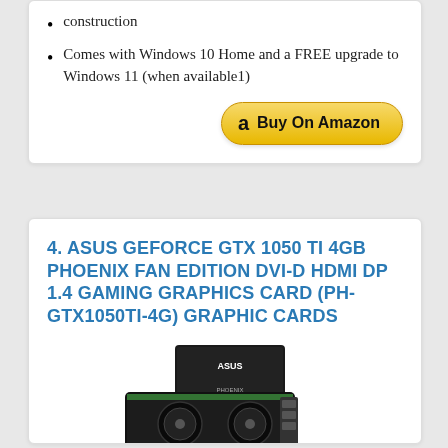construction
Comes with Windows 10 Home and a FREE upgrade to Windows 11 (when available1)
[Figure (other): Buy On Amazon button with Amazon logo]
4. ASUS GEFORCE GTX 1050 TI 4GB PHOENIX FAN EDITION DVI-D HDMI DP 1.4 GAMING GRAPHICS CARD (PH-GTX1050TI-4G) GRAPHIC CARDS
[Figure (photo): ASUS GeForce GTX 1050 Ti Phoenix Fan Edition graphics card product photo showing the card and its box]